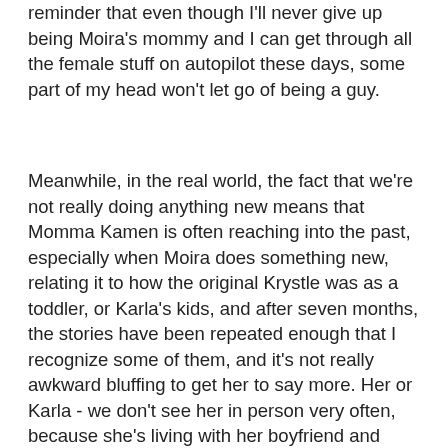reminder that even though I'll never give up being Moira's mommy and I can get through all the female stuff on autopilot these days, some part of my head won't let go of being a guy.
Meanwhile, in the real world, the fact that we're not really doing anything new means that Momma Kamen is often reaching into the past, especially when Moira does something new, relating it to how the original Krystle was as a toddler, or Karla's kids, and after seven months, the stories have been repeated enough that I recognize some of them, and it's not really awkward bluffing to get her to say more. Her or Karla - we don't see her in person very often, because she's living with her boyfriend and there's baby-daddies that makes her circle pretty big, but she skypes with her mom a lot, and likes to see her niece, and since it's not a very big apartment and I don't want to cause trouble, it means I get pulled in, and there's more reminiscence.  And I'm not sure how to put the rest of it, because I didn't finish school and all, but if you look at Krystle's life and mine as one story, the way it must look for them, they've kind of filled in the gaps of how "Krystle" went from a rebellious girl who stripped for money to a hard-working mom who lived her own right and...